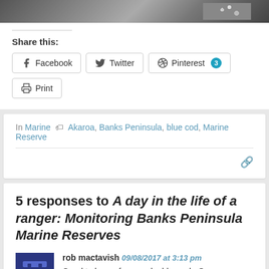[Figure (photo): Partial photo strip at the top of the page showing a dark patterned image cropped]
Share this:
Facebook  Twitter  Pinterest 3  Print
In Marine  Akaroa, Banks Peninsula, blue cod, Marine Reserve
5 responses to A day in the life of a ranger: Monitoring Banks Peninsula Marine Reserves
rob mactavish  09/08/2017 at 3:13 pm
Good to hear of your valuable work. Our once great cod fishing industry is no more, we failed to assess